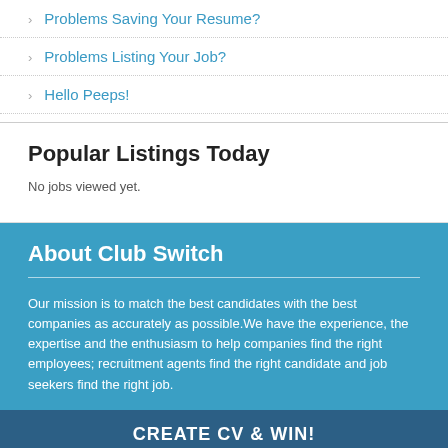Problems Saving Your Resume?
Problems Listing Your Job?
Hello Peeps!
Popular Listings Today
No jobs viewed yet.
About Club Switch
Our mission is to match the best candidates with the best companies as accurately as possible.We have the experience, the expertise and the enthusiasm to help companies find the right employees; recruitment agents find the right candidate and job seekers find the right job.
We recommend job seekers to upload their resumes or cvs,  clearly outlaying in a ... work experien...
CREATE CV & WIN!